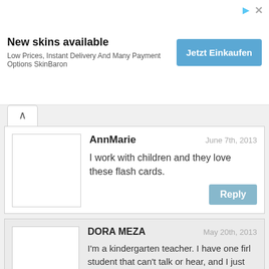[Figure (other): Advertisement banner: 'New skins available — Low Prices, Instant Delivery And Many Payment Options SkinBaron' with blue 'Jetzt Einkaufen' button]
AnnMarie
June 7th, 2013
I work with children and they love these flash cards.
DORA MEZA
May 20th, 2013
I'm a kindergarten teacher. I have one firl student that can't talk or hear, and I just visited her therapist and saw how they review flash cards of numbers. I just